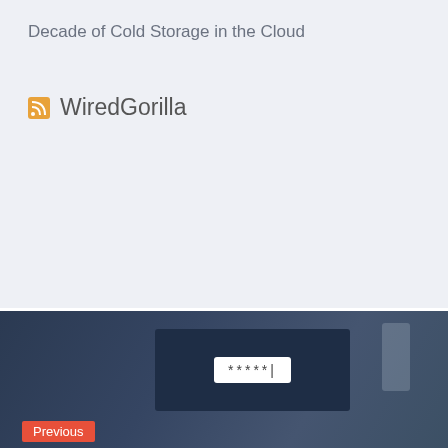Decade of Cold Storage in the Cloud
WiredGorilla
[Figure (screenshot): Navigation card with dark laptop/keyboard background showing Previous post: Detectify Year in Review 2018, December 20, 2018]
[Figure (screenshot): Navigation card with dark laptop/keyboard background showing Next post: Meet the Hacker: europa: â€˜I always trust m..., January 4, 2019]